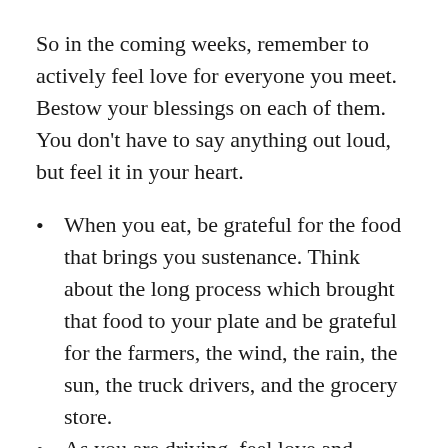So in the coming weeks, remember to actively feel love for everyone you meet.  Bestow your blessings on each of them. You don't have to say anything out loud, but feel it in your heart.
When you eat, be grateful for the food that brings you sustenance. Think about the long process which brought that food to your plate and be grateful for the farmers, the wind, the rain, the sun, the truck drivers, and the grocery store.
As you are driving, feel love and gratitude for the other people in other cars driving near you. Give the road you are driving on a blessing. Think about the plants, trees, and wildlife that are chilled by the exhaust...